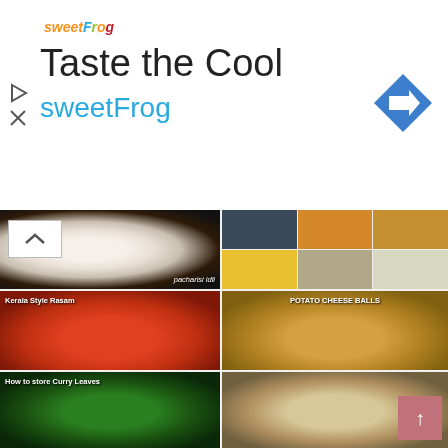[Figure (advertisement): sweetFrog advertisement banner with logo, 'Taste the Cool' headline, 'sweetFrog' blue text, navigation arrow diamond icon on the right]
[Figure (photo): Pacharisi idli — white steamed rice cakes in a dark bowl with green garnish, text 'pacharisi idli' in bottom right]
[Figure (photo): Collage of South Indian snack and dish images in a 3x2 grid]
[Figure (photo): Kerala Style Rasam — reddish-orange lentil soup in a steel tumbler with vegetables and greens in background, text 'Kerala Style Rasam' top left]
[Figure (photo): Potato Cheese Balls — golden fried balls on toothpicks in a white tray, text 'POTATO CHEESE BALLS' top right]
[Figure (photo): How to store Curry Leaves — fresh green curry leaves in a steel bowl, text 'How to store Curry Leaves' top left]
[Figure (photo): Rice dish with onion rings and curry in a dark plate on a woven mat]